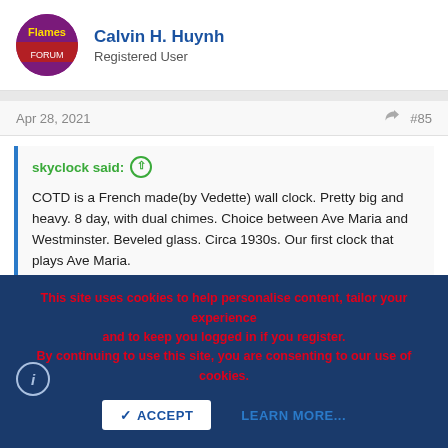Calvin H. Huynh
Registered User
Apr 28, 2021   #85
skyclock said: ↑

COTD is a French made(by Vedette) wall clock. Pretty big and heavy. 8 day, with dual chimes. Choice between Ave Maria and Westminster. Beveled glass. Circa 1930s. Our first clock that plays Ave Maria.

View attachment 558702 View attachment 558703
Hi skyclock , I have looked around some catalogs and found
This site uses cookies to help personalise content, tailor your experience and to keep you logged in if you register.
By continuing to use this site, you are consenting to our use of cookies.

ACCEPT    LEARN MORE...